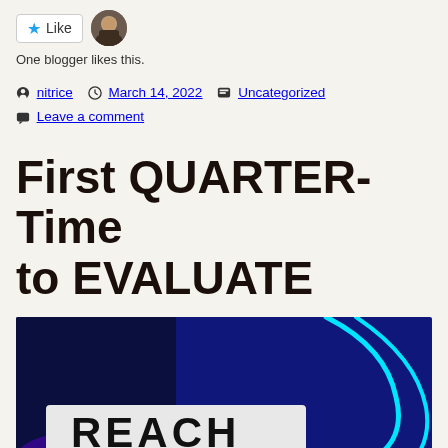[Figure (screenshot): Like button with star icon and a blogger avatar photo]
One blogger likes this.
nitrice  March 14, 2022  Uncategorized
Leave a comment
First QUARTER-Time to EVALUATE
[Figure (photo): Dark blue background with cyan neon curved lines and a sign showing REACH in large letters]